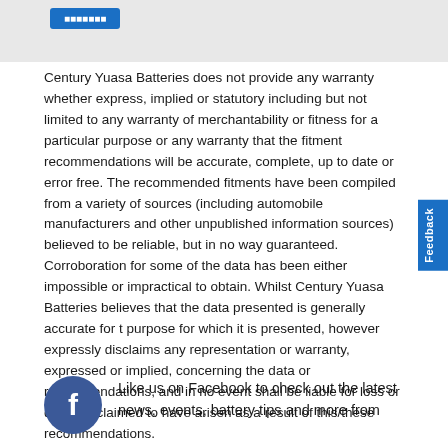[Figure (other): Gray header box with a blue button element at top]
Century Yuasa Batteries does not provide any warranty whether express, implied or statutory including but not limited to any warranty of merchantability or fitness for a particular purpose or any warranty that the fitment recommendations will be accurate, complete, up to date or error free. The recommended fitments have been compiled from a variety of sources (including automobile manufacturers and other unpublished information sources) believed to be reliable, but in no way guaranteed. Corroboration for some of the data has been either impossible or impractical to obtain. Whilst Century Yuasa Batteries believes that the data presented is generally accurate for the purpose for which it is presented, however expressly disclaims any representation or warranty, expressed or implied, concerning the data or recommendations, and in no event shall be liable for loss or damage claimed to have arisen as a result of this/these recommendations.
[Figure (other): Facebook logo icon (circular dark blue with white f)]
Like us on Facebook to check out the latest news, events, battery tips and more from